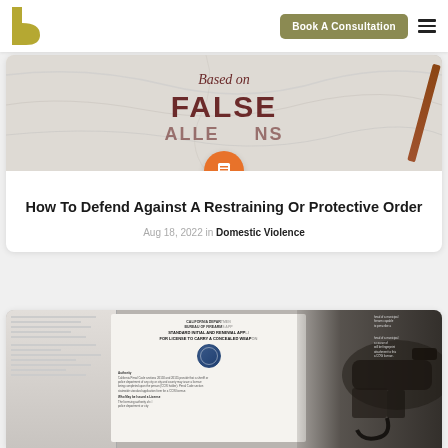[Figure (screenshot): Website navigation bar with gold 'h' logo, 'Book A Consultation' button, and hamburger menu]
[Figure (photo): Image showing marble background with 'Based on FALSE ALLEGATIONS' text in dark red, with orange circle icon overlay]
How To Defend Against A Restraining Or Protective Order
Aug 18, 2022 in Domestic Violence
[Figure (photo): California Department of Firearms Bureau of Firearms Standard Initial and Renewal Application for License to Carry a Concealed Weapon document with a handgun on the right side]